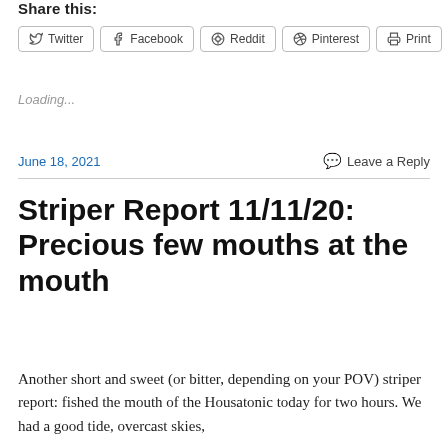Share this:
Twitter | Facebook | Reddit | Pinterest | Print
Loading...
June 18, 2021   Leave a Reply
Striper Report 11/11/20: Precious few mouths at the mouth
Another short and sweet (or bitter, depending on your POV) striper report: fished the mouth of the Housatonic today for two hours. We had a good tide, overcast skies,